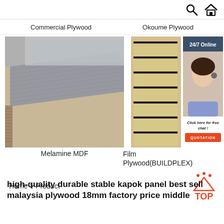🔍 🏠
Commercial Plywood    Okoume Plywood
[Figure (photo): Stacked sheets of melamine MDF plywood in a warehouse, grey textured surface visible on top sheet]
Melamine MDF
[Figure (photo): Stacked film-faced plywood boards shown edge-on, revealing dark brown/black coating and layered veneer core]
[Figure (photo): Customer service representative with headset, smiling. Dark navy header reading 24/7 Online. Text: Click here for free chat! Orange button: QUOTATION]
Film Plywood(BUILDPLEX)
Home > Product
high-quality durable stable kapok panel best sell malaysia plywood 18mm factory price middle